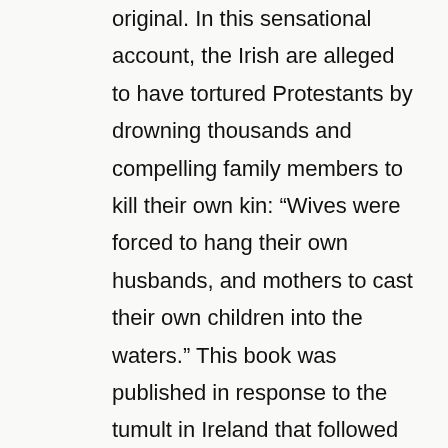original. In this sensational account, the Irish are alleged to have tortured Protestants by drowning thousands and compelling family members to kill their own kin: “Wives were forced to hang their own husbands, and mothers to cast their own children into the waters.” This book was published in response to the tumult in Ireland that followed the Glorious Revolution of 1688. Catholic Ireland had to accept the military occupation and endure the rule of the Protestant regime of William of Orange. In 1689 several London printing houses recirculated pamphlets that had originally published in 1641 during the Irish Rebellion. Although readers of the republished Relation of the Bloody Massacre in